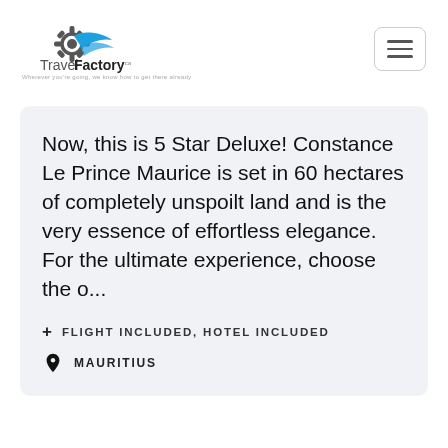[Figure (logo): TravelFactory logo with gear and arrow icon, text reads TravelFactory with small superscript and tagline below]
[Figure (other): Hamburger menu button: three horizontal lines in a rounded rectangle border]
Now, this is 5 Star Deluxe! Constance Le Prince Maurice is set in 60 hectares of completely unspoilt land and is the very essence of effortless elegance. For the ultimate experience, choose the o...
+ FLIGHT INCLUDED, HOTEL INCLUDED
◉ MAURITIUS